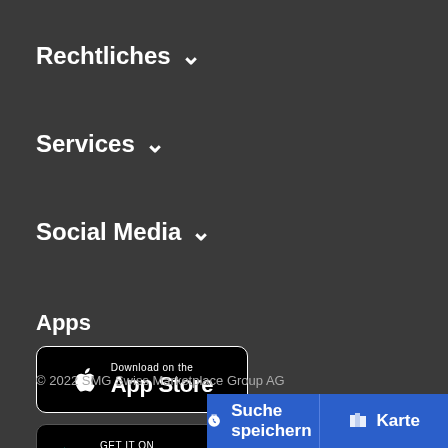Rechtliches ∨
Services ∨
Social Media ∨
Apps
[Figure (logo): Download on the App Store badge]
[Figure (logo): Get it on Google Play badge]
© 2022 SMG Swiss Marketplace Group AG
Suche speichern
Karte